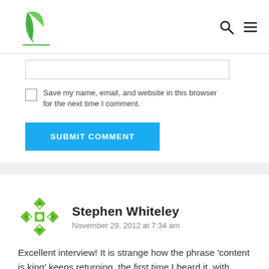Logo and navigation icons (search, menu)
[Figure (other): Input text field (partially visible)]
Save my name, email, and website in this browser for the next time I comment.
SUBMIT COMMENT
Stephen Whiteley
November 29, 2012 at 7:34 am
Excellent interview! It is strange how the phrase ‘content is king’ keeps returning, the first time I heard it, with relation to digital marketing, was in 1998, so in a way, some things haven’t changed.
What has changed is that search engines have